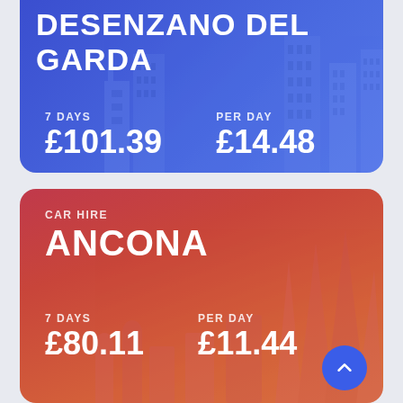[Figure (infographic): Blue card showing car hire price for Desenzano Del Garda: 7 days £101.39, per day £14.48, with city skyline illustration]
[Figure (infographic): Red card showing car hire price for Ancona: 7 days £80.11, per day £11.44, with city skyline illustration]